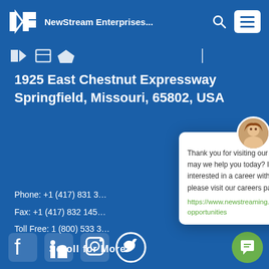NewStream Enterprises...
1925 East Chestnut Expressway Springfield, Missouri, 65802, USA
Phone: +1 (417) 831 3...
Fax: +1 (417) 832 145...
Toll Free: 1 (800) 533 3...
[Figure (screenshot): Chat popup card with avatar photo of a woman, close button, message text: 'Thank you for visiting our website. How may we help you today? If you're interested in a career with NewStream, please visit our careers page.' and a green link: https://www.newstreaming.co... opportunities]
[Figure (logo): Social media icons row: Facebook, LinkedIn, Instagram, Twitter. Scroll for More label. Green chat button bottom right.]